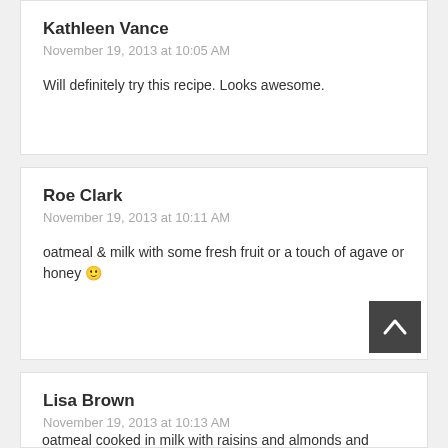Kathleen Vance
November 19, 2013 at 10:05 AM
Will definitely try this recipe. Looks awesome.
Roe Clark
November 19, 2013 at 10:11 AM
oatmeal & milk with some fresh fruit or a touch of agave or honey 🙂
Lisa Brown
November 19, 2013 at 10:13 AM
oatmeal cooked in milk with raisins and almonds and